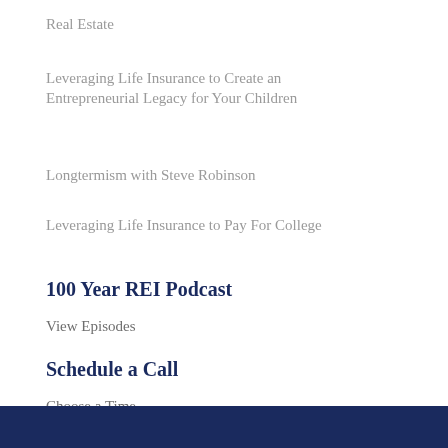Real Estate
Leveraging Life Insurance to Create an Entrepreneurial Legacy for Your Children
Longtermism with Steve Robinson
Leveraging Life Insurance to Pay For College
100 Year REI Podcast
View Episodes
Schedule a Call
Choose a Time